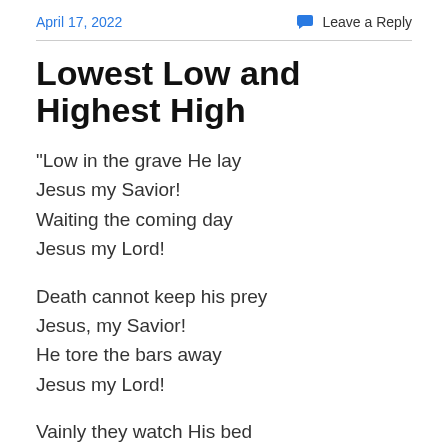April 17, 2022   Leave a Reply
Lowest Low and Highest High
“Low in the grave He lay
Jesus my Savior!
Waiting the coming day
Jesus my Lord!
Death cannot keep his prey
Jesus, my Savior!
He tore the bars away
Jesus my Lord!
Vainly they watch His bed
Jesus, my Savior!
Vainly they seal the dead